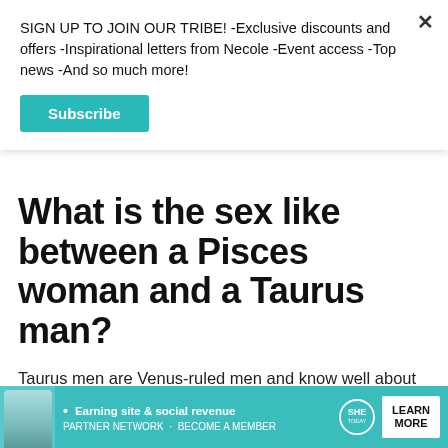SIGN UP TO JOIN OUR TRIBE! -Exclusive discounts and offers -Inspirational letters from Necole -Event access -Top news -And so much more!
Subscribe
What is the sex like between a Pisces woman and a Taurus man?
Taurus men are Venus-ruled men and know well about sensuality, love, sex, romance, and all the pleasures of life. Taurus men are extremely sensual beings and highly attuned to this energy in life. A
[Figure (infographic): Advertisement banner for SHE Media Partner Network — teal background with a woman photo, text 'Earning site & social revenue', SHE logo, and a 'LEARN MORE' button.]